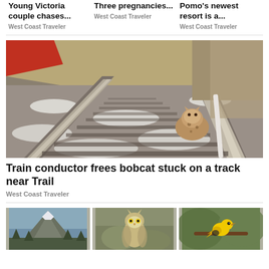Young Victoria couple chases...
West Coast Traveler
Three pregnancies...
West Coast Traveler
Pomo's newest resort is a...
West Coast Traveler
[Figure (photo): A bobcat sitting on snow-dusted railway tracks, with gravel and dry grass visible, and a red object partially visible at top left.]
Train conductor frees bobcat stuck on a track near Trail
West Coast Traveler
[Figure (photo): Mountain landscape photo]
[Figure (photo): An owl or similar bird in natural setting]
[Figure (photo): A yellow bird on a branch]